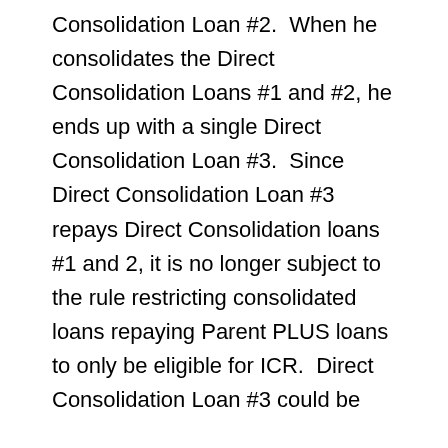Consolidation Loan #2.  When he consolidates the Direct Consolidation Loans #1 and #2, he ends up with a single Direct Consolidation Loan #3.  Since Direct Consolidation Loan #3 repays Direct Consolidation loans #1 and 2, it is no longer subject to the rule restricting consolidated loans repaying Parent PLUS loans to only be eligible for ICR.  Direct Consolidation Loan #3 could be